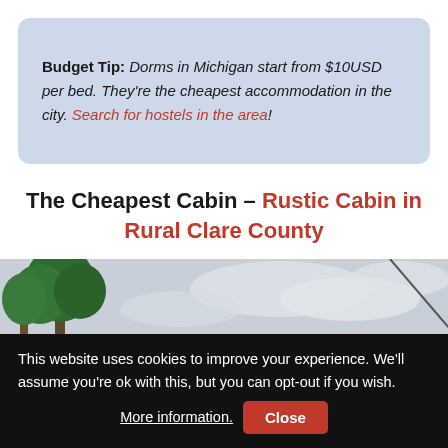Budget Tip: Dorms in Michigan start from $10USD per bed. They're the cheapest accommodation in the city. Search for hostels in the area!
The Cheapest Cabin – Rustic Cabin in Rural Clare County
[Figure (photo): Outdoor photo showing green trees against a cloudy sky, partially cropped at the bottom of the page]
This website uses cookies to improve your experience. We'll assume you're ok with this, but you can opt-out if you wish. More information. Close